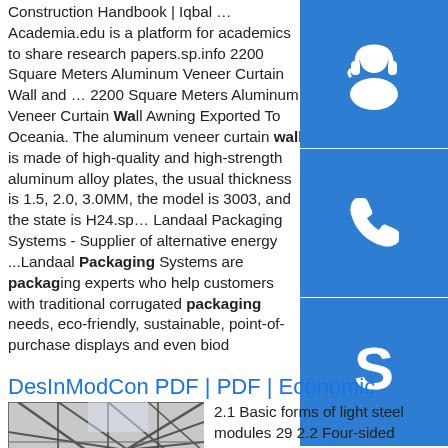Construction Handbook | Iqbal …Academia.edu is a platform for academics to share research papers.sp.info 2200 Square Meters Aluminum Veneer Curtain Wall and … 2200 Square Meters Aluminum Veneer Curtain Wall Awning Exported To Oceania. The aluminum veneer curtain wall is made of high-quality and high-strength aluminum alloy plates, the usual thickness is 1.5, 2.0, 3.0MM, the model is 3003, and the state is H24.sp... Landaal Packaging Systems - Supplier of alternative energy ...Landaal Packaging Systems are packaging experts who help customers with traditional corrugated packaging needs, eco-friendly, sustainable, point-of-purchase displays and even biod
[Figure (illustration): Blue icon with headset/customer support symbol]
[Figure (illustration): Blue icon with telephone/phone symbol]
[Figure (illustration): Blue icon with Skype logo symbol]
DesInModCon PDF | PDF | Economic Sectors | Economics
[Figure (photo): Photo of steel truss/lattice structure construction, viewed from below at angle, black and white]
2.1 Basic forms of light steel modules 29 2.2 Four-sided modules 29 2.3 Corner--